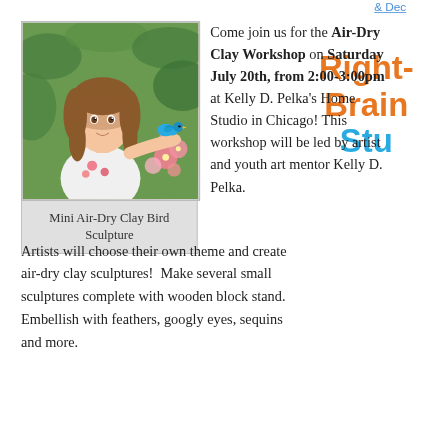& Dec
[Figure (photo): A young girl holding a small blue clay bird sculpture, with pink flowers in the background]
Mini Air-Dry Clay Bird Sculpture
Come join us for the Air-Dry Clay Workshop on Saturday July 20th, from 2:00-3:00pm at Kelly D. Pelka’s Home Studio in Chicago! This workshop will be led by artist and youth art mentor Kelly D. Pelka.
Right-Brain Stu
Artists will choose their own theme and create air-dry clay sculptures!  Make several small sculptures complete with wooden block stand. Embellish with feathers, googly eyes, sequins and more.